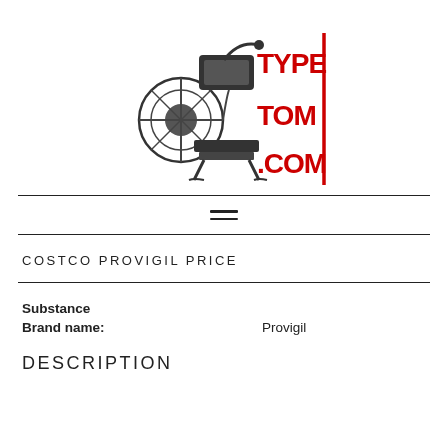[Figure (logo): TypeTom.com logo with vintage printing press machine illustration on the left and bold red TYPE TOM .COM text on the right]
COSTCO PROVIGIL PRICE
Substance
Brand name: Provigil
DESCRIPTION